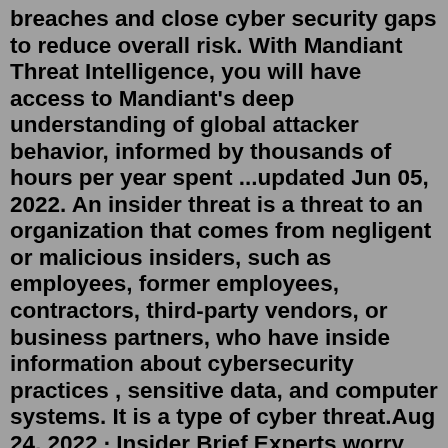breaches and close cyber security gaps to reduce overall risk. With Mandiant Threat Intelligence, you will have access to Mandiant's deep understanding of global attacker behavior, informed by thousands of hours per year spent ...updated Jun 05, 2022. An insider threat is a threat to an organization that comes from negligent or malicious insiders, such as employees, former employees, contractors, third-party vendors, or business partners, who have inside information about cybersecurity practices , sensitive data, and computer systems. It is a type of cyber threat.Aug 24, 2022 · Insider Brief Experts worry that quantum artificial intelligence or machine learning programs will require an enormous amount of data, but scientists from Los Alamos National Read More NSF-funded UCLA Center to Develop Chemical Qubits For Quantum Computing You can use our insider trading screener to screen 1M+ insider transactions. All data is updated in near real-time. Try popular screens below to check recent important insider transactions. If you... Insider Threat